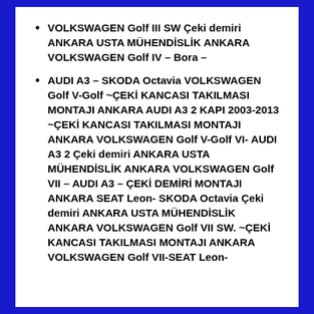VOLKSWAGEN Golf III SW Çeki demiri ANKARA USTA MÜHENDİSLİK ANKARA VOLKSWAGEN Golf IV – Bora –
AUDI A3 – SKODA Octavia VOLKSWAGEN Golf V-Golf ~ÇEKİ KANCASI TAKILMASI MONTAJI ANKARA AUDI A3 2 KAPI 2003-2013 ~ÇEKİ KANCASI TAKILMASI MONTAJI ANKARA VOLKSWAGEN Golf V-Golf VI- AUDI A3 2 Çeki demiri ANKARA USTA MÜHENDİSLİK ANKARA VOLKSWAGEN Golf VII – AUDI A3 – ÇEKİ DEMİRİ MONTAJI ANKARA SEAT Leon- SKODA Octavia Çeki demiri ANKARA USTA MÜHENDİSLİK ANKARA VOLKSWAGEN Golf VII SW. ~ÇEKİ KANCASI TAKILMASI MONTAJI ANKARA VOLKSWAGEN Golf VII-SEAT Leon-